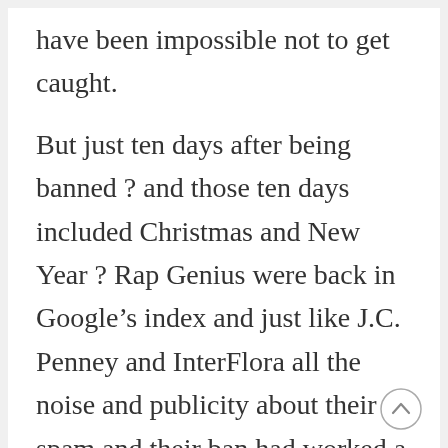have been impossible not to get caught.
But just ten days after being banned — and those ten days included Christmas and New Year — Rap Genius were back in Google’s index and just like J.C. Penney and InterFlora all the noise and publicity about their spam and their ban had worked a charm in building up a great